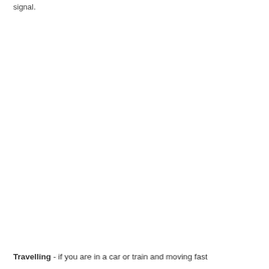signal.
Travelling - if you are in a car or train and moving fast